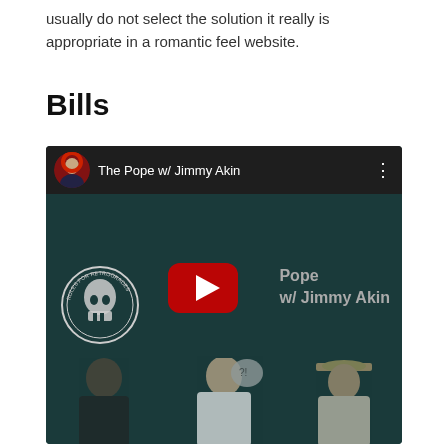usually do not select the solution it really is appropriate in a romantic feel website.
Bills
[Figure (screenshot): Embedded YouTube video thumbnail for 'The Pope w/ Jimmy Akin' showing a channel with a circular avatar of a person with headphones, a dark teal thumbnail with a YouTube play button, a circular logo for 'Rules for Retrogrades', text overlay reading 'Pope w/ Jimmy Akin', and three people (a person in dark clothing, the Pope in white robes, and a person in a cowboy hat) at the bottom.]